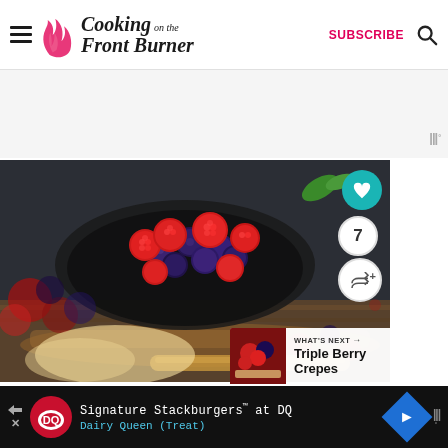Cooking on the Front Burner — SUBSCRIBE
[Figure (photo): Close-up photo of raspberries and blueberries in a dark wooden bowl with scattered berries on a wooden surface, dark background. Social share buttons overlaid on right side showing heart icon, count 7, and share icon.]
WHAT'S NEXT → Triple Berry Crepes
Signature Stackburgers™ at DQ Dairy Queen (Treat)